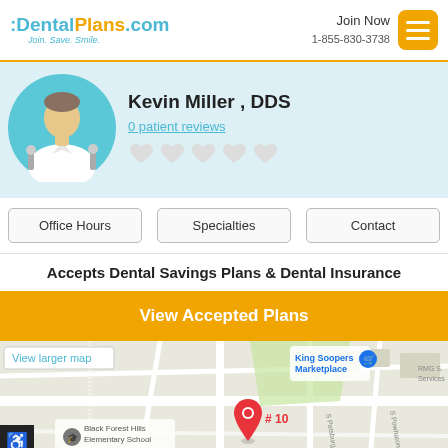DentalPlans.com Join. Save. Smile. | Join Now 1-855-830-3738
Kevin Miller , DDS
0 patient reviews
[Figure (illustration): Doctor avatar icon in teal circle, wearing white coat]
[Figure (illustration): Five gray heart icons for rating (no rating filled)]
Office Hours
Specialties
Contact
Accepts Dental Savings Plans & Dental Insurance
View Accepted Plans
[Figure (map): Google map showing location near King Soopers Marketplace and Black Forest Hills Elementary School, with red pin marker labeled #10 and View larger map link]